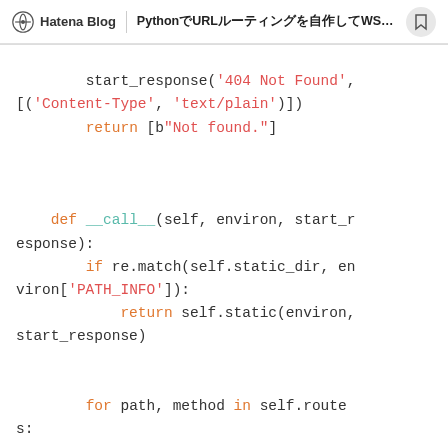Hatena Blog | PythonでURLルーティングを自作してWSGIサーバーに...
[Figure (screenshot): Python code snippet showing WSGI app with start_response('404 Not Found'), return [b'Not found.'], def __call__ method with re.match routing, and for loop over routes.]